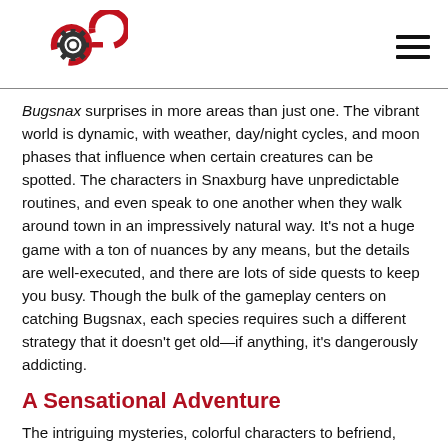[COG logo] [hamburger menu]
Bugsnax surprises in more areas than just one. The vibrant world is dynamic, with weather, day/night cycles, and moon phases that influence when certain creatures can be spotted. The characters in Snaxburg have unpredictable routines, and even speak to one another when they walk around town in an impressively natural way. It’s not a huge game with a ton of nuances by any means, but the details are well-executed, and there are lots of side quests to keep you busy. Though the bulk of the gameplay centers on catching Bugsnax, each species requires such a different strategy that it doesn’t get old—if anything, it’s dangerously addicting.
A Sensational Adventure
The intriguing mysteries, colorful characters to befriend,